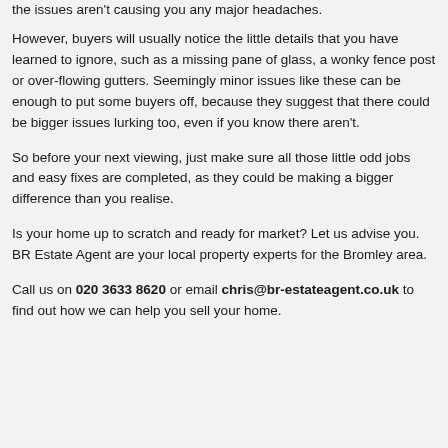the issues aren't causing you any major headaches.
However, buyers will usually notice the little details that you have learned to ignore, such as a missing pane of glass, a wonky fence post or over-flowing gutters. Seemingly minor issues like these can be enough to put some buyers off, because they suggest that there could be bigger issues lurking too, even if you know there aren't.
So before your next viewing, just make sure all those little odd jobs and easy fixes are completed, as they could be making a bigger difference than you realise.
Is your home up to scratch and ready for market? Let us advise you. BR Estate Agent are your local property experts for the Bromley area.
Call us on 020 3633 8620 or email chris@br-estateagent.co.uk to find out how we can help you sell your home.